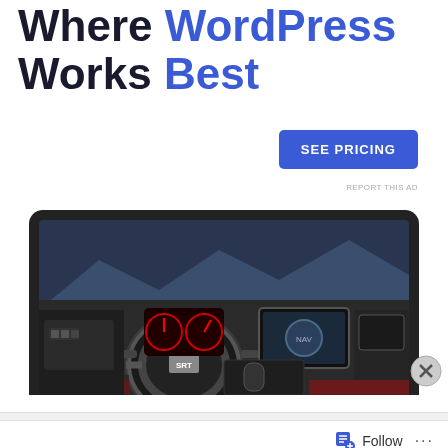Where WordPress Works Best
SEE PRICING
REPORT THIS AD
[Figure (screenshot): Laptop frame showing Dodge Durango SRT interior — steering wheel with SRT badge, infotainment screen, red/black seats, mountain view through windshield]
Advertisements
Follow ...